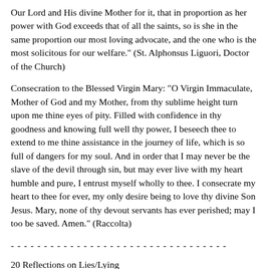Our Lord and His divine Mother for it, that in proportion as her power with God exceeds that of all the saints, so is she in the same proportion our most loving advocate, and the one who is the most solicitous for our welfare." (St. Alphonsus Liguori, Doctor of the Church)
Consecration to the Blessed Virgin Mary: "O Virgin Immaculate, Mother of God and my Mother, from thy sublime height turn upon me thine eyes of pity. Filled with confidence in thy goodness and knowing full well thy power, I beseech thee to extend to me thine assistance in the journey of life, which is so full of dangers for my soul. And in order that I may never be the slave of the devil through sin, but may ever live with my heart humble and pure, I entrust myself wholly to thee. I consecrate my heart to thee for ever, my only desire being to love thy divine Son Jesus. Mary, none of thy devout servants has ever perished; may I too be saved. Amen." (Raccolta)
- - - - - - - - - - - - - - - - - - - - - - - - - - - - - - - - -
20 Reflections on Lies/Lying
+ + +
Note: Items below are in no particular order.